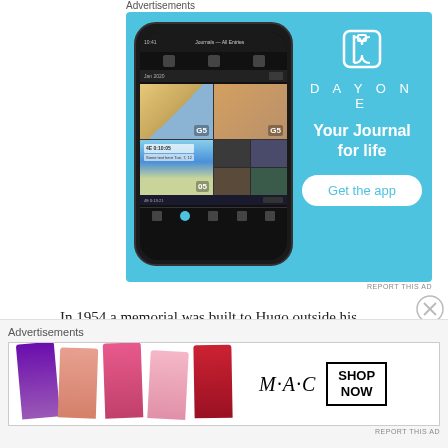Advertisements
[Figure (photo): DayOne app advertisement showing a smartphone with journal entries and the tagline 'Your Journal for life' with a 'Get the app' button on a sky-blue background]
REPORT THIS AD
In 1954 a memorial was built to Hugo outside his home, and a ward at Hollywood Private Hospital in Perth is named after him. In 1983 his son Ric
Advertisements
[Figure (photo): MAC Cosmetics advertisement showing colorful lipsticks alongside the MAC logo and a 'SHOP NOW' button]